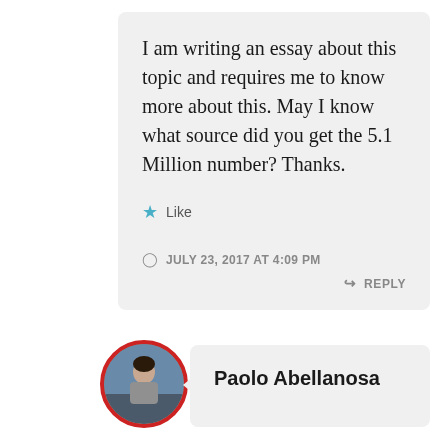I am writing an essay about this topic and requires me to know more about this. May I know what source did you get the 5.1 Million number? Thanks.
Like
JULY 23, 2017 AT 4:09 PM
REPLY
[Figure (photo): Circular avatar photo of Paolo Abellanosa with red border, showing a person in gray shirt]
Paolo Abellanosa